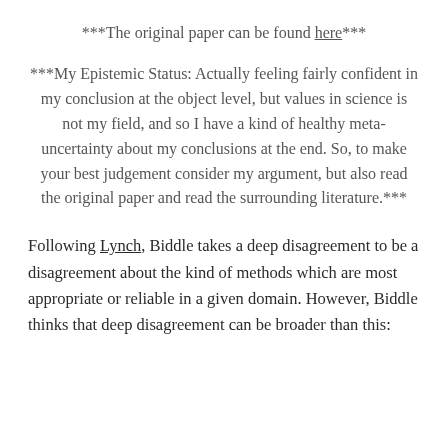***The original paper can be found here***
***My Epistemic Status: Actually feeling fairly confident in my conclusion at the object level, but values in science is not my field, and so I have a kind of healthy meta-uncertainty about my conclusions at the end. So, to make your best judgement consider my argument, but also read the original paper and read the surrounding literature.***
Following Lynch, Biddle takes a deep disagreement to be a disagreement about the kind of methods which are most appropriate or reliable in a given domain. However, Biddle thinks that deep disagreement can be broader than this: